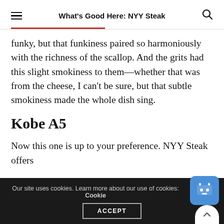What's Good Here: NYY Steak
funky, but that funkiness paired so harmoniously with the richness of the scallop. And the grits had this slight smokiness to them—whether that was from the cheese, I can't be sure, but that subtle smokiness made the whole dish sing.
Kobe A5
Now this one is up to your preference. NYY Steak offers
Our site uses cookies. Learn more about our use of cookies: Cookie ACCEPT